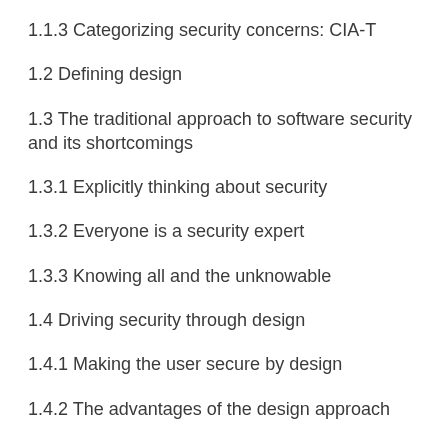1.1.3 Categorizing security concerns: CIA-T
1.2 Defining design
1.3 The traditional approach to software security and its shortcomings
1.3.1 Explicitly thinking about security
1.3.2 Everyone is a security expert
1.3.3 Knowing all and the unknowable
1.4 Driving security through design
1.4.1 Making the user secure by design
1.4.2 The advantages of the design approach